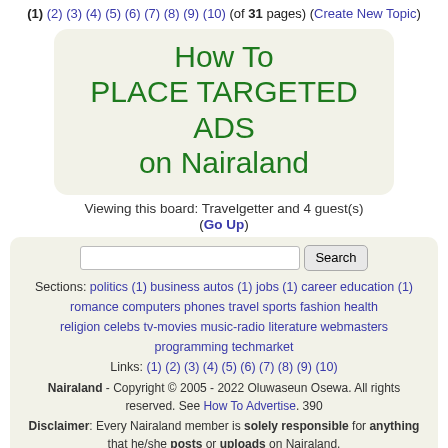(1) (2) (3) (4) (5) (6) (7) (8) (9) (10) (of 31 pages) (Create New Topic)
[Figure (other): Promotional banner: How To PLACE TARGETED ADS on Nairaland, green text on beige rounded rectangle]
Viewing this board: Travelgetter and 4 guest(s)
(Go Up)
Sections: politics (1) business autos (1) jobs (1) career education (1) romance computers phones travel sports fashion health religion celebs tv-movies music-radio literature webmasters programming techmarket
Links: (1) (2) (3) (4) (5) (6) (7) (8) (9) (10)
Nairaland - Copyright © 2005 - 2022 Oluwaseun Osewa. All rights reserved. See How To Advertise. 390
Disclaimer: Every Nairaland member is solely responsible for anything that he/she posts or uploads on Nairaland.